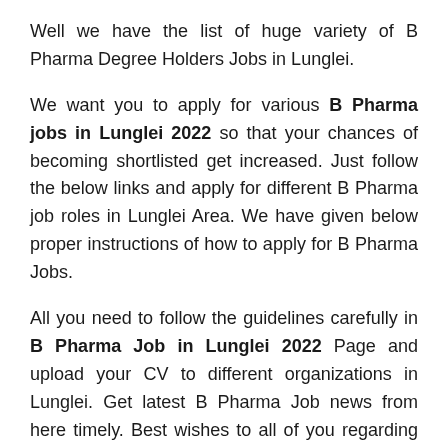Well we have the list of huge variety of B Pharma Degree Holders Jobs in Lunglei.
We want you to apply for various B Pharma jobs in Lunglei 2022 so that your chances of becoming shortlisted get increased. Just follow the below links and apply for different B Pharma job roles in Lunglei Area. We have given below proper instructions of how to apply for B Pharma Jobs.
All you need to follow the guidelines carefully in B Pharma Job in Lunglei 2022 Page and upload your CV to different organizations in Lunglei. Get latest B Pharma Job news from here timely. Best wishes to all of you regarding more Lunglei Jobs information.